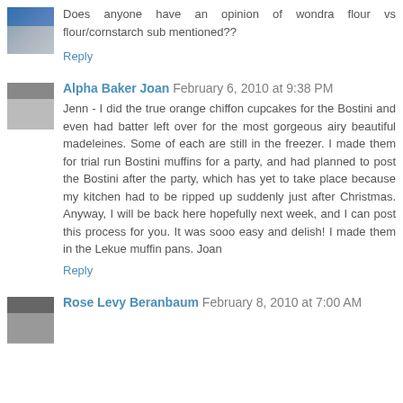Does anyone have an opinion of wondra flour vs flour/cornstarch sub mentioned??
Reply
Alpha Baker Joan  February 6, 2010 at 9:38 PM
Jenn - I did the true orange chiffon cupcakes for the Bostini and even had batter left over for the most gorgeous airy beautiful madeleines. Some of each are still in the freezer. I made them for trial run Bostini muffins for a party, and had planned to post the Bostini after the party, which has yet to take place because my kitchen had to be ripped up suddenly just after Christmas. Anyway, I will be back here hopefully next week, and I can post this process for you. It was sooo easy and delish! I made them in the Lekue muffin pans. Joan
Reply
Rose Levy Beranbaum  February 8, 2010 at 7:00 AM